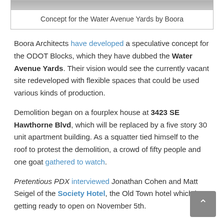[Figure (photo): Top portion of a grayscale architectural/concept photo for the Water Avenue Yards]
Concept for the Water Avenue Yards by Boora
Boora Architects have developed a speculative concept for the ODOT Blocks, which they have dubbed the Water Avenue Yards. Their vision would see the currently vacant site redeveloped with flexible spaces that could be used various kinds of production.
Demolition began on a fourplex house at 3423 SE Hawthorne Blvd, which will be replaced by a five story 30 unit apartment building. As a squatter tied himself to the roof to protest the demolition, a crowd of fifty people and one goat gathered to watch.
Pretentious PDX interviewed Jonathan Cohen and Matt Seigel of the Society Hotel, the Old Town hotel which is getting ready to open on November 5th.